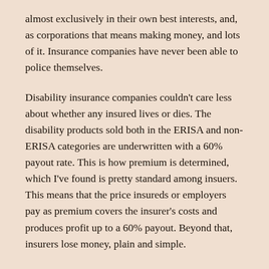almost exclusively in their own best interests, and, as corporations that means making money, and lots of it. Insurance companies have never been able to police themselves.
Disability insurance companies couldn't care less about whether any insured lives or dies. The disability products sold both in the ERISA and non-ERISA categories are underwritten with a 60% payout rate. This is how premium is determined, which I've found is pretty standard among insuers. This means that the price insureds or employers pay as premium covers the insurer's costs and produces profit up to a 60% payout. Beyond that, insurers lose money, plain and simple.
The collectively...